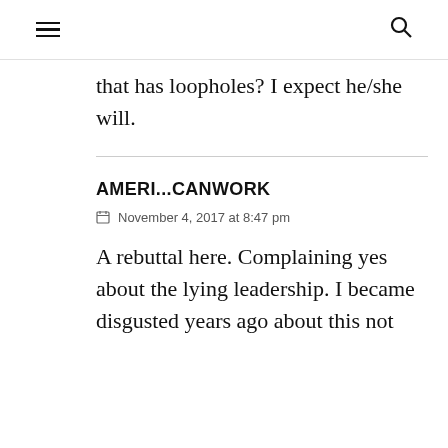☰ 🔍
that has loopholes? I expect he/she will.
AMERI...CANWORK
November 4, 2017 at 8:47 pm
A rebuttal here. Complaining yes about the lying leadership. I became disgusted years ago about this not